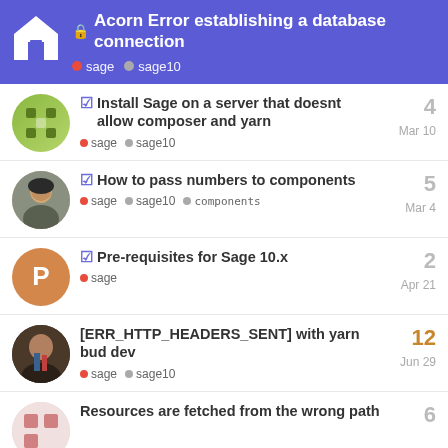🔒 Acorn Error establishing a database connection — sage, sage10
✅ Install Sage on a server that doesnt allow composer and yarn — sage, sage10 — 4 — Mar 10
✅ How to pass numbers to components — sage, sage10, components — 5 — Mar 4
✅ Pre-requisites for Sage 10.x — sage — 2 — Apr 21
[ERR_HTTP_HEADERS_SENT] with yarn bud dev — sage, sage10 — 12 — Jun 29
Resources are fetched from the wrong path — 6